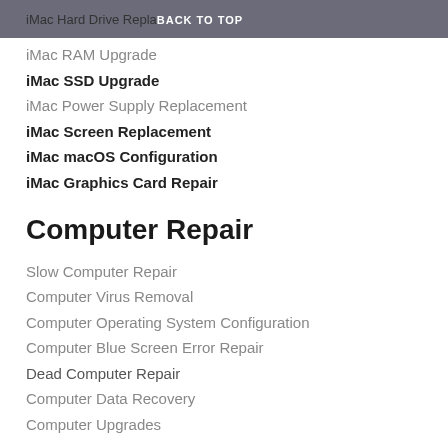iMac Hard Drive Replacement   BACK TO TOP
iMac RAM Upgrade
iMac SSD Upgrade
iMac Power Supply Replacement
iMac Screen Replacement
iMac macOS Configuration
iMac Graphics Card Repair
Computer Repair
Slow Computer Repair
Computer Virus Removal
Computer Operating System Configuration
Computer Blue Screen Error Repair
Dead Computer Repair
Computer Data Recovery
Computer Upgrades
iPhone Repair